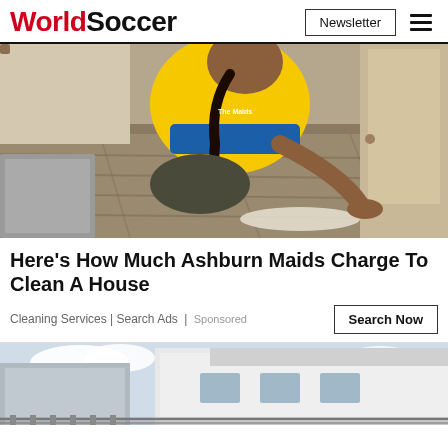WorldSoccer | Newsletter
[Figure (photo): A woman in a yellow shirt and blue apron cleaning a hardwood floor on hands and knees inside a house]
Here's How Much Ashburn Maids Charge To Clean A House
Cleaning Services | Search Ads | Sponsored
[Figure (photo): Partial view of a building exterior with sky background, partially cut off at bottom of page]